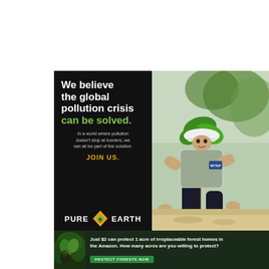[Figure (illustration): Advertisement for Pure Earth organization. Black background on left with white bold text 'We believe the global pollution crisis' and green text 'can be solved.' Below is smaller gray text 'In a world where pollution doesn't stop at borders, we can all be part of the solution.' followed by orange bold text 'JOIN US.' Pure Earth logo with diamond icon at bottom. Right side shows photo of person in white hard hat and vest planting a sapling in sandy soil.]
We believe the global pollution crisis can be solved.
In a world where pollution doesn't stop at borders, we can all be part of the solution.
JOIN US.
[Figure (illustration): Bottom banner ad with dark forest background on left showing wildlife/birds, with white bold text: 'Just $2 can protect 1 acre of irreplaceable forest homes in the Amazon. How many acres are you willing to protect?' with a green 'PROTECT FORESTS NOW' button.]
Just $2 can protect 1 acre of irreplaceable forest homes in the Amazon. How many acres are you willing to protect?